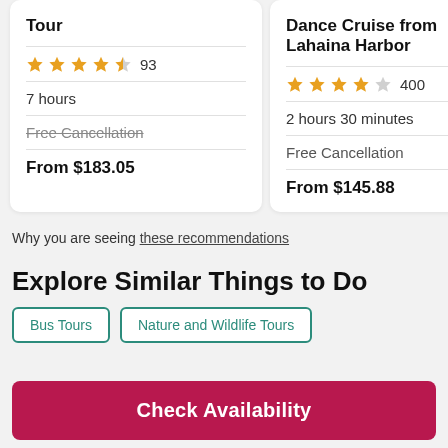Tour
Dance Cruise from Lahaina Harbor
Tour
★★★★½ 93
★★★★☆ 400
7 hours
2 hours 30 minutes
10 ho...
Free Cancellation (strikethrough)
Free Cancellation
Free- (strikethrough, clipped)
From $183.05
From $145.88
From
Why you are seeing these recommendations
Explore Similar Things to Do
Bus Tours
Nature and Wildlife Tours
Check Availability